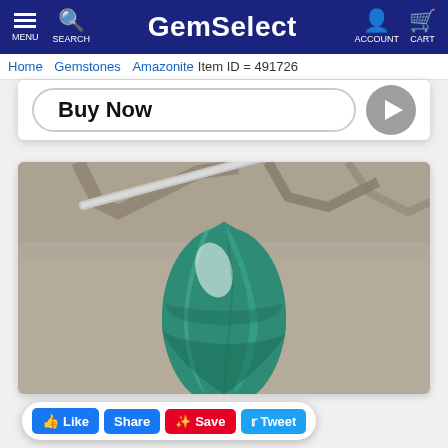GemSelect — MENU | SEARCH | ACCOUNT | CART
Home  Gemstones  Amazonite  Item ID = 491726
Buy Now
[Figure (photo): A teal/green Amazonite gemstone cabochon in a marquise/pear shape, held by metal tweezers against a gray stone background. The stone shows characteristic teal-green and white bands.]
👍 Like  Share  Save  Tweet